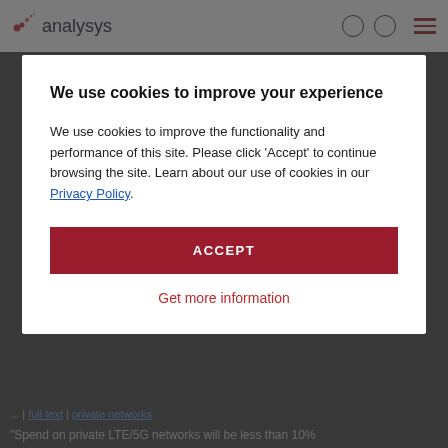analysys
We use cookies to improve your experience
We use cookies to improve the functionality and performance of this site. Please click 'Accept' to continue browsing the site. Learn about our use of cookies in our Privacy Policy.
ACCEPT
Get more information
"Spend on private LTE/5G networks will be less than 10%